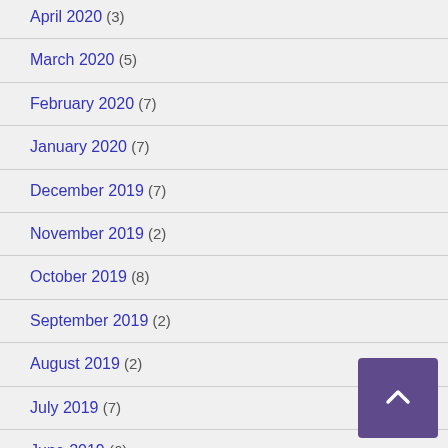April 2020 (3)
March 2020 (5)
February 2020 (7)
January 2020 (7)
December 2019 (7)
November 2019 (2)
October 2019 (8)
September 2019 (2)
August 2019 (2)
July 2019 (7)
June 2019 (6)
May 2019 (8)